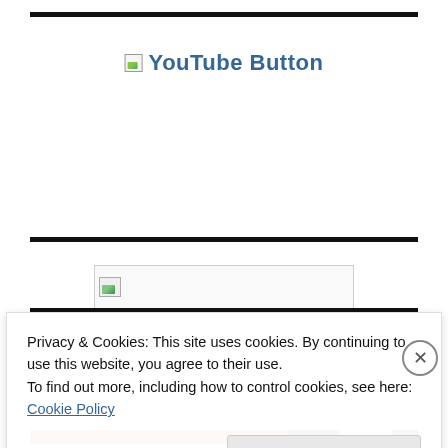[Figure (screenshot): Broken image placeholder with alt text 'YouTube Button' shown as a link/button in blue text]
[Figure (screenshot): Broken image placeholder — wide rectangle with small broken image icon]
Privacy & Cookies: This site uses cookies. By continuing to use this website, you agree to their use.
To find out more, including how to control cookies, see here:
Cookie Policy
Close and accept